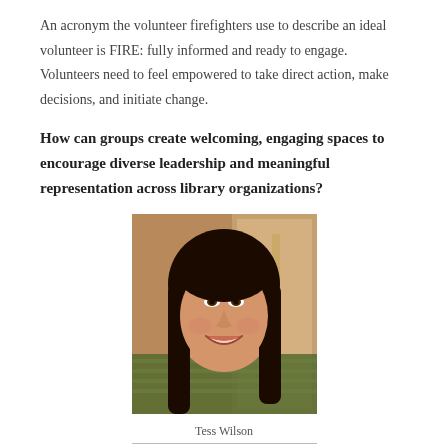An acronym the volunteer firefighters use to describe an ideal volunteer is FIRE: fully informed and ready to engage. Volunteers need to feel empowered to take direct action, make decisions, and initiate change.
How can groups create welcoming, engaging spaces to encourage diverse leadership and meaningful representation across library organizations?
[Figure (photo): Portrait photo of Tess Wilson, a woman with long dark hair, smiling, wearing a striped top, with a warm indoor background.]
Tess Wilson
WILSON: To address equity, diversity, and inclusion within our